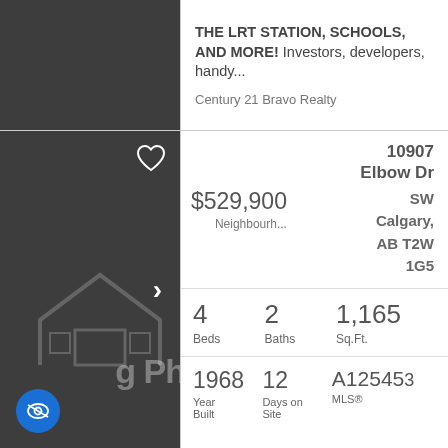[Figure (photo): Dark grey property listing thumbnail image, partially visible at top of page]
THE LRT STATION, SCHOOLS, AND MORE! Investors, developers, handy...
Century 21 Bravo Realty
[Figure (photo): Dark grey property listing photo placeholder with house outline graphic, heart icon, arrow and eye/hide button]
10907 Elbow Dr SW
$529,900
Neighbourh...
Calgary, AB T2W 1G5
4 Beds  2 Baths  1,165 Sq.Ft.
1968 Year Built  12 Days on Site  A1254531 MLS®